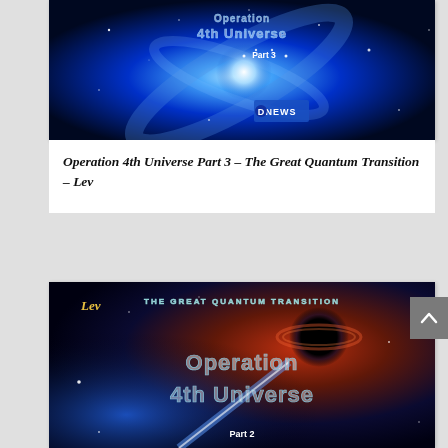[Figure (illustration): Thumbnail image for 'Operation 4th Universe Part 3' article: dark blue space/galaxy scene with bright white light center, text overlay reading 'Operation 4th Universe Part 3' and 'Part 3', with a 'NEWS' logo watermark.]
Operation 4th Universe Part 3 - The Great Quantum Transition - Lev
[Figure (illustration): Thumbnail image for a second 'Operation 4th Universe' article (Part 2): space scene with red/blue nebula and black hole, text overlay reading 'THE GREAT QUANTUM TRANSITION', 'Operation 4th Universe', 'Part 2', and 'Lev' in gold script.]